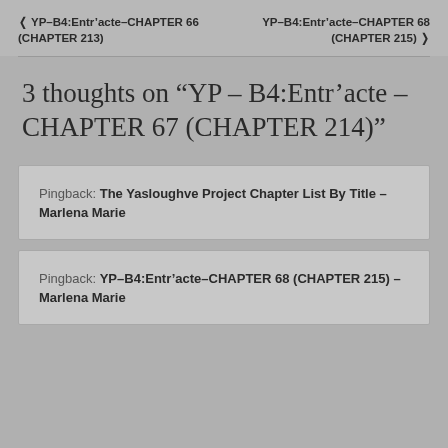< YP–B4:Entr'acte–CHAPTER 66 (CHAPTER 213)   YP–B4:Entr'acte–CHAPTER 68 (CHAPTER 215) >
3 thoughts on “YP – B4:Entr’acte – CHAPTER 67 (CHAPTER 214)”
Pingback: The Yasloughve Project Chapter List By Title – Marlena Marie
Pingback: YP–B4:Entr’acte–CHAPTER 68 (CHAPTER 215) – Marlena Marie